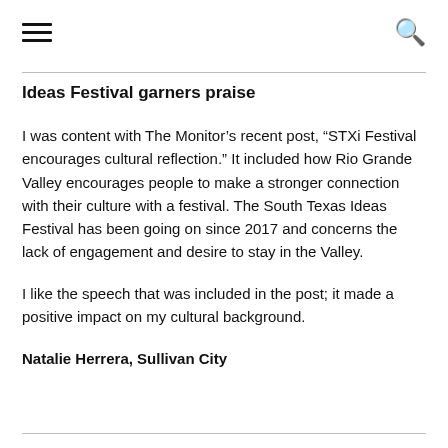[hamburger menu] [search icon]
Ideas Festival garners praise
I was content with The Monitor’s recent post, “STXi Festival encourages cultural reflection.” It included how Rio Grande Valley encourages people to make a stronger connection with their culture with a festival. The South Texas Ideas Festival has been going on since 2017 and concerns the lack of engagement and desire to stay in the Valley.
I like the speech that was included in the post; it made a positive impact on my cultural background.
Natalie Herrera, Sullivan City